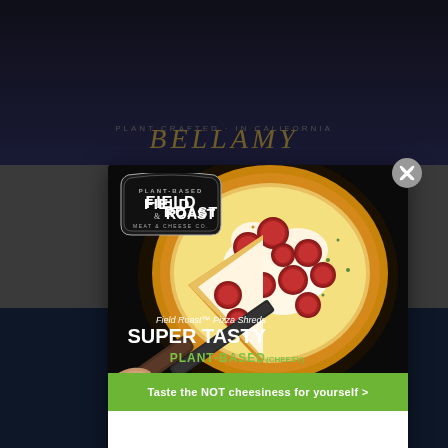[Figure (screenshot): A modal advertisement popup over a webpage background. The ad features a Field Roast Pizza Shreds advertisement with a pepperoni pizza image, Field Roast Plant-Based Meat & Cheese Co. logo badge in the upper left, text overlay reading 'Field Roast™ Pizza Shreds SUPER TASTY PLANT-BASED (CHEESY)', a green CTA button reading 'Taste the NOT cheesiness for yourself >', and a close (X) button in the upper right corner of the modal. The background shows a partially visible webpage.]